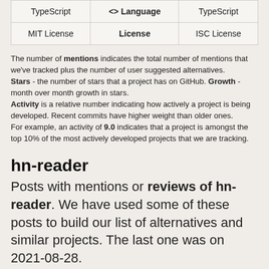|  |  |  |
| --- | --- | --- |
| TypeScript | <> Language | TypeScript |
| MIT License | License | ISC License |
The number of mentions indicates the total number of mentions that we've tracked plus the number of user suggested alternatives. Stars - the number of stars that a project has on GitHub. Growth - month over month growth in stars. Activity is a relative number indicating how actively a project is being developed. Recent commits have higher weight than older ones. For example, an activity of 9.0 indicates that a project is amongst the top 10% of the most actively developed projects that we are tracking.
hn-reader
Posts with mentions or reviews of hn-reader. We have used some of these posts to build our list of alternatives and similar projects. The last one was on 2021-08-28.